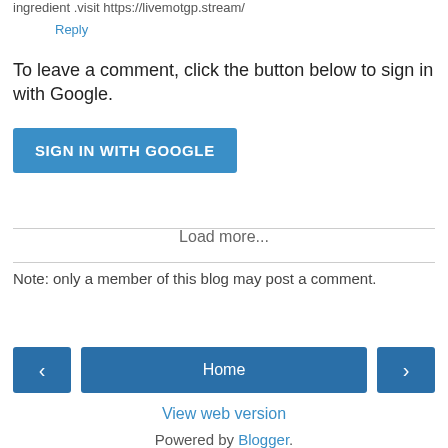ingredient .visit https://livemotgp.stream/
Reply
To leave a comment, click the button below to sign in with Google.
SIGN IN WITH GOOGLE
Load more...
Note: only a member of this blog may post a comment.
Home
View web version
Powered by Blogger.